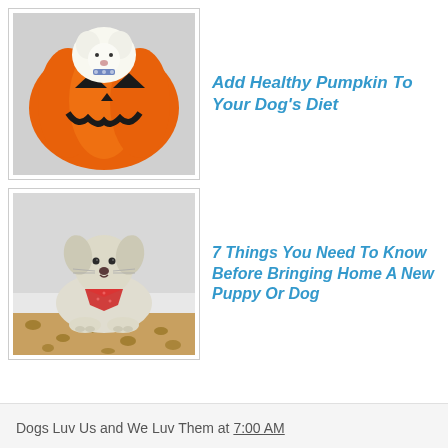[Figure (photo): White fluffy dog sitting inside an orange jack-o-lantern pumpkin decoration]
Add Healthy Pumpkin To Your Dog's Diet
[Figure (photo): White fluffy dog wearing a red bandana, lying on a leopard print blanket]
7 Things You Need To Know Before Bringing Home A New Puppy Or Dog
Dogs Luv Us and We Luv Them at 7:00 AM